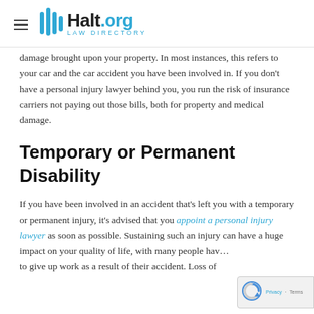Halt.org Law Directory
damage brought upon your property. In most instances, this refers to your car and the car accident you have been involved in. If you don't have a personal injury lawyer behind you, you run the risk of insurance carriers not paying out those bills, both for property and medical damage.
Temporary or Permanent Disability
If you have been involved in an accident that's left you with a temporary or permanent injury, it's advised that you appoint a personal injury lawyer as soon as possible. Sustaining such an injury can have a huge impact on your quality of life, with many people hav… to give up work as a result of their accident. Loss of